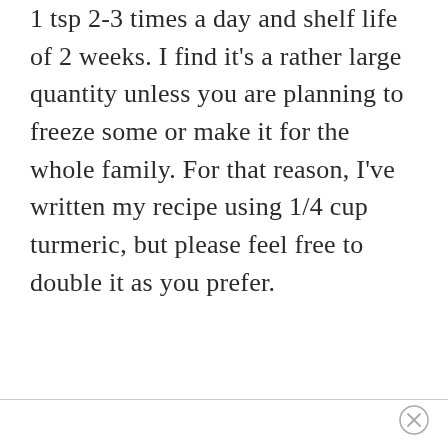1 tsp 2-3 times a day and shelf life of 2 weeks. I find it's a rather large quantity unless you are planning to freeze some or make it for the whole family. For that reason, I've written my recipe using 1/4 cup turmeric, but please feel free to double it as you prefer.